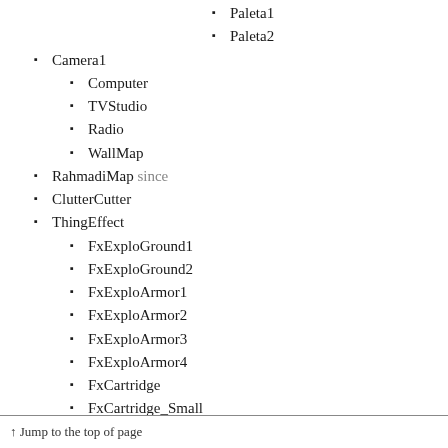Paleta1
Paleta2
Camera1
Computer
TVStudio
Radio
WallMap
RahmadiMap since
ClutterCutter
ThingEffect
FxExploGround1
FxExploGround2
FxExploArmor1
FxExploArmor2
FxExploArmor3
FxExploArmor4
FxCartridge
FxCartridge_Small
ThingEffectLight
FxWindGrass1
FxWindGrass2
FxWindRock1
FxWindLeaf1
FxWindLeaf2
↑ Jump to the top of page